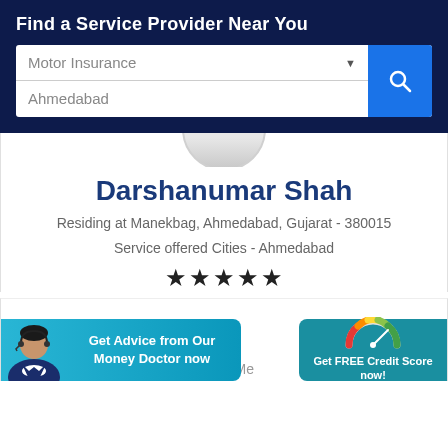Find a Service Provider Near You
[Figure (screenshot): Search form with Motor Insurance dropdown and Ahmedabad location field with blue search button]
[Figure (photo): Partially visible circular avatar/profile photo placeholder at the top of a provider card]
Darshanumar Shah
Residing at Manekbag, Ahmedabad, Gujarat - 380015
Service offered Cities - Ahmedabad
[Figure (other): Five black star rating icons]
[Figure (photo): Customer service representative photo with headset on left side banner]
Get Advice from Our Money Doctor now
[Figure (infographic): Gauge/speedometer icon showing credit score meter with green-yellow-red arc]
Get FREE Credit Score now!
About Me